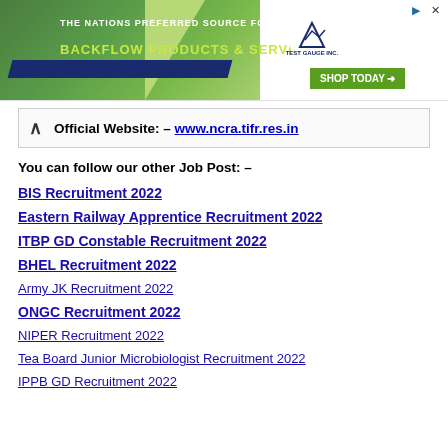[Figure (screenshot): Advertisement banner for Test Gauge Inc. - backflow products and services with green background and shop today button]
Official Website: – www.ncra.tifr.res.in
You can follow our other Job Post: –
BIS Recruitment 2022
Eastern Railway Apprentice Recruitment 2022
ITBP GD Constable Recruitment 2022
BHEL Recruitment 2022
Army JK Recruitment 2022
ONGC Recruitment 2022
NIPER Recruitment 2022
Tea Board Junior Microbiologist Recruitment 2022
IPPB GD Recruitment 2022